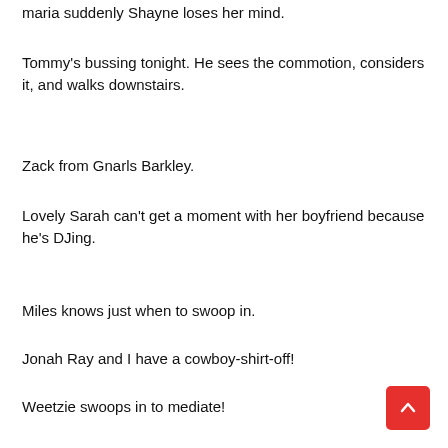maria suddenly Shayne loses her mind.
Tommy's bussing tonight. He sees the commotion, considers it, and walks downstairs.
Zack from Gnarls Barkley.
Lovely Sarah can't get a moment with her boyfriend because he's DJing.
Miles knows just when to swoop in.
Jonah Ray and I have a cowboy-shirt-off!
Weetzie swoops in to mediate!